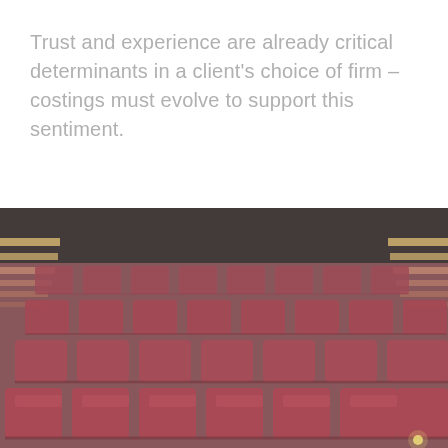Trust and experience are already critical determinants in a client's choice of firm – costings must evolve to support this sentiment.
[Figure (photo): Photo of rows of red/burgundy theater or auditorium seats viewed from the front, with wooden aisle steps visible on the sides, dark ceiling above.]